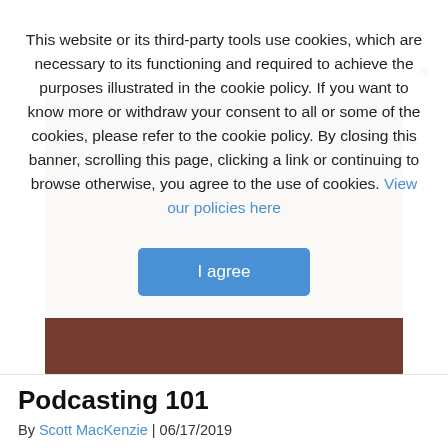This website or its third-party tools use cookies, which are necessary to its functioning and required to achieve the purposes illustrated in the cookie policy. If you want to know more or withdraw your consent to all or some of the cookies, please refer to the cookie policy. By closing this banner, scrolling this page, clicking a link or continuing to browse otherwise, you agree to the use of cookies. View our policies here
[Figure (other): I agree button - blue rounded rectangle cookie consent confirmation button]
Podcasting 101
By Scott MacKenzie | 06/17/2019